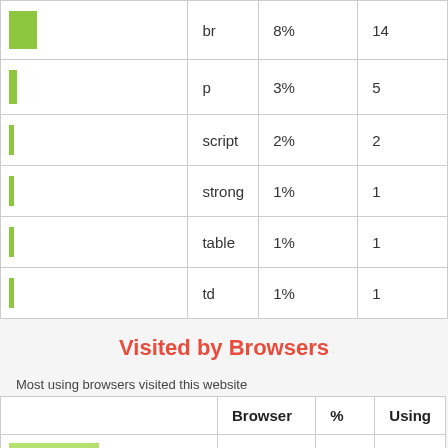|  |  | % |  |
| --- | --- | --- | --- |
|  | br | 8% | 14 |
|  | p | 3% | 5 |
|  | script | 2% | 2 |
|  | strong | 1% | 1 |
|  | table | 1% | 1 |
|  | td | 1% | 1 |
Visited by Browsers
Most using browsers visited this website
|  | Browser | % | Using |
| --- | --- | --- | --- |
|  | Internet Explorer | 58% | 4 |